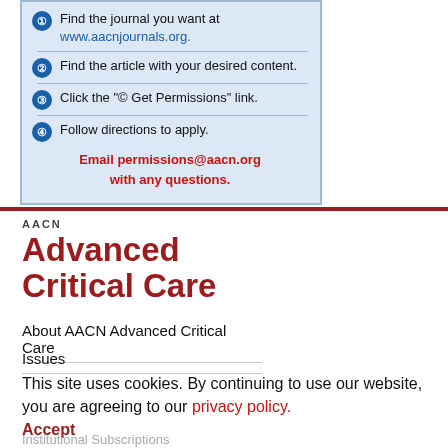1 Find the journal you want at www.aacnjournals.org.
2 Find the article with your desired content.
3 Click the "© Get Permissions" link.
4 Follow directions to apply.
Email permissions@aacn.org with any questions.
[Figure (logo): AACN Advanced Critical Care journal logo with red bold text]
About AACN Advanced Critical Care
Issues
This site uses cookies. By continuing to use our website, you are agreeing to our privacy policy. Accept
Institutional Subscriptions